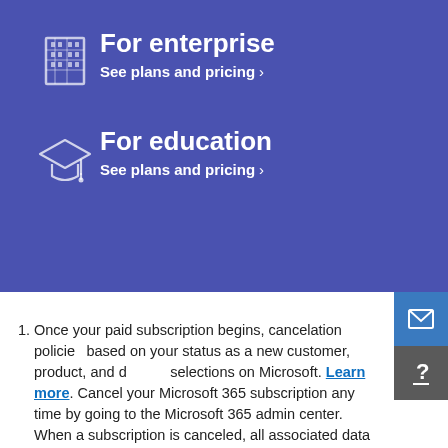For enterprise — See plans and pricing >
For education — See plans and pricing >
Once your paid subscription begins, cancelation policies are based on your status as a new customer, product, and domain selections on Microsoft. Learn more. Cancel your Microsoft 365 subscription any time by going to the Microsoft 365 admin center. When a subscription is canceled, all associated data will be deleted. Learn more about data retention, deletion, and